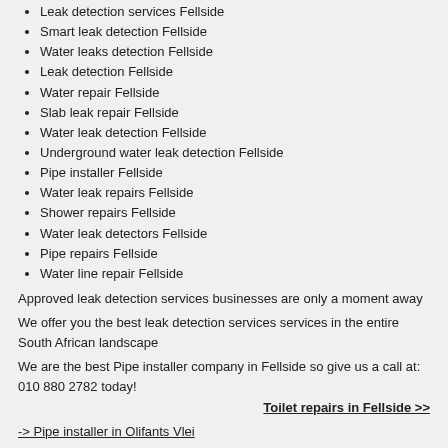Leak detection services Fellside
Smart leak detection Fellside
Water leaks detection Fellside
Leak detection Fellside
Water repair Fellside
Slab leak repair Fellside
Water leak detection Fellside
Underground water leak detection Fellside
Pipe installer Fellside
Water leak repairs Fellside
Shower repairs Fellside
Water leak detectors Fellside
Pipe repairs Fellside
Water line repair Fellside
Approved leak detection services businesses are only a moment away
We offer you the best leak detection services services in the entire South African landscape
We are the best Pipe installer company in Fellside so give us a call at: 010 880 2782 today!
Toilet repairs in Fellside >>
-> Pipe installer in Olifants Vlei
-> Pipe installer in Kwenele